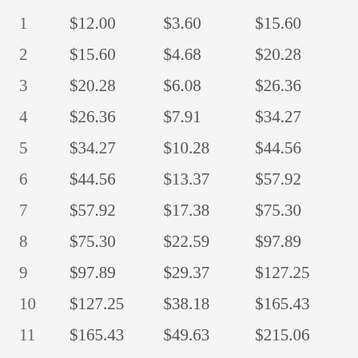| 1 | $12.00 | $3.60 | $15.60 |
| 2 | $15.60 | $4.68 | $20.28 |
| 3 | $20.28 | $6.08 | $26.36 |
| 4 | $26.36 | $7.91 | $34.27 |
| 5 | $34.27 | $10.28 | $44.56 |
| 6 | $44.56 | $13.37 | $57.92 |
| 7 | $57.92 | $17.38 | $75.30 |
| 8 | $75.30 | $22.59 | $97.89 |
| 9 | $97.89 | $29.37 | $127.25 |
| 10 | $127.25 | $38.18 | $165.43 |
| 11 | $165.43 | $49.63 | $215.06 |